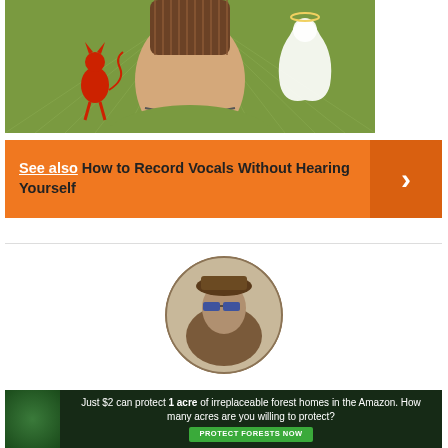[Figure (illustration): Illustration showing the back of a person's head with a devil figure on the left shoulder and an angel figure (ghost-like) on the right shoulder, green background with radiating lines]
[Figure (infographic): Orange banner with text 'See also How to Record Vocals Without Hearing Yourself' and a right-arrow chevron on the right side]
[Figure (photo): Circular cropped photo of a person wearing sunglasses]
[Figure (infographic): Advertisement banner: 'Just $2 can protect 1 acre of irreplaceable forest homes in the Amazon. How many acres are you willing to protect?' with a 'PROTECT FORESTS NOW' green button]